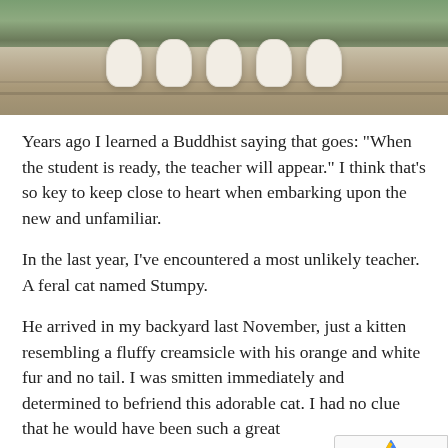[Figure (photo): Photo of white cat paws resting on a log or branch, with green foliage in background]
Years ago I learned a Buddhist saying that goes: "When the student is ready, the teacher will appear." I think that's so key to keep close to heart when embarking upon the new and unfamiliar.
In the last year, I've encountered a most unlikely teacher. A feral cat named Stumpy.
He arrived in my backyard last November, just a kitten resembling a fluffy creamsicle with his orange and white fur and no tail. I was smitten immediately and determined to befriend this adorable cat. I had no clue that he would have been such a great teacher, reminding me of what I need to learn right at th I needed it most.